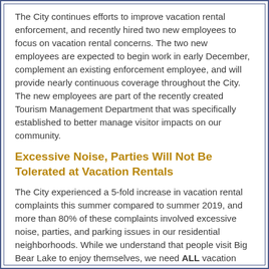The City continues efforts to improve vacation rental enforcement, and recently hired two new employees to focus on vacation rental concerns. The two new employees are expected to begin work in early December, complement an existing enforcement employee, and will provide nearly continuous coverage throughout the City. The new employees are part of the recently created Tourism Management Department that was specifically established to better manage visitor impacts on our community.
Excessive Noise, Parties Will Not Be Tolerated at Vacation Rentals
The City experienced a 5-fold increase in vacation rental complaints this summer compared to summer 2019, and more than 80% of these complaints involved excessive noise, parties, and parking issues in our residential neighborhoods. While we understand that people visit Big Bear Lake to enjoy themselves, we need ALL vacation rental visitors to behave in a responsible and respectful manner. The main reason that we all live in and visit Big Bear Lake is to relax